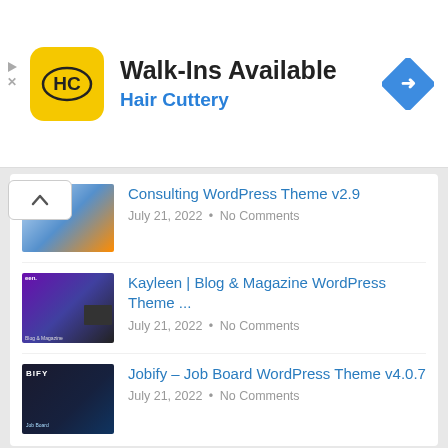[Figure (infographic): Hair Cuttery advertisement banner: logo with HC letters on yellow background, Walk-Ins Available headline, Hair Cuttery subtitle in blue, navigation arrow icon]
Consulting WordPress Theme v2.9 — July 21, 2022 • No Comments
Kayleen | Blog & Magazine WordPress Theme ... — July 21, 2022 • No Comments
Jobify – Job Board WordPress Theme v4.0.7 — July 21, 2022 • No Comments
RECENT COMMENTS